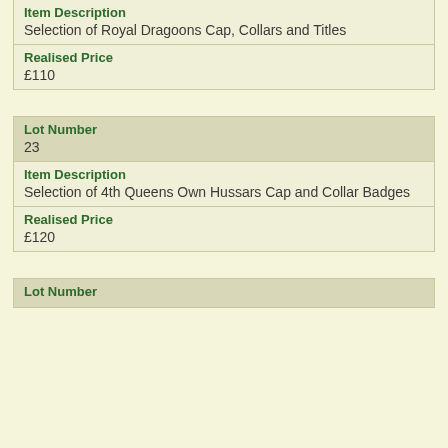| Field | Value |
| --- | --- |
| Item Description | Selection of Royal Dragoons Cap, Collars and Titles |
| Realised Price | £110 |
| Field | Value |
| --- | --- |
| Lot Number | 23 |
| Item Description | Selection of 4th Queens Own Hussars Cap and Collar Badges |
| Realised Price | £120 |
| Field | Value |
| --- | --- |
| Lot Number |  |